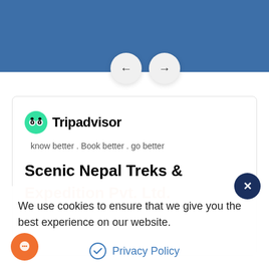[Figure (screenshot): Blue banner background at top of webpage]
[Figure (illustration): Two circular navigation arrow buttons (left arrow and right arrow) on a light gray background]
[Figure (screenshot): Tripadvisor widget card showing owl logo, brand name Tripadvisor, tagline 'know better . Book better . go better', and partial title 'Scenic Nepal Treks & Expedition Pvt. Ltd.']
We use cookies to ensure that we give you the best experience on our website.
Privacy Policy
Allow Cookies